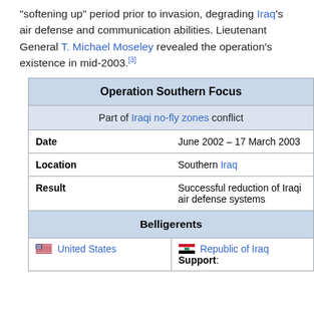"softening up" period prior to invasion, degrading Iraq's air defense and communication abilities. Lieutenant General T. Michael Moseley revealed the operation's existence in mid-2003.[3]
| Operation Southern Focus |
| --- |
| Part of Iraqi no-fly zones conflict |
| Date | June 2002 – 17 March 2003 |
| Location | Southern Iraq |
| Result | Successful reduction of Iraqi air defense systems |
| Belligerents |
| 🇺🇸 United States | 🇮🇶 Republic of Iraq
Support: |